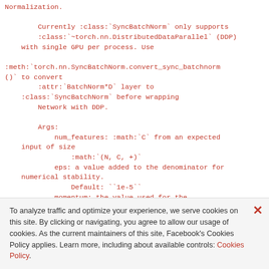Normalization.

        Currently :class:`SyncBatchNorm` only supports
        :class:`~torch.nn.DistributedDataParallel` (DDP)
    with single GPU per process. Use

:meth:`torch.nn.SyncBatchNorm.convert_sync_batchnorm
()` to convert
        :attr:`BatchNorm*D` layer to
    :class:`SyncBatchNorm` before wrapping
        Network with DDP.

        Args:
            num_features: :math:`C` from an expected
    input of size
                :math:`(N, C, +)`
            eps: a value added to the denominator for
    numerical stability.
                Default: ``1e-5``
            momentum: the value used for the
    running_mean and running_var
To analyze traffic and optimize your experience, we serve cookies on this site. By clicking or navigating, you agree to allow our usage of cookies. As the current maintainers of this site, Facebook's Cookies Policy applies. Learn more, including about available controls: Cookies Policy.